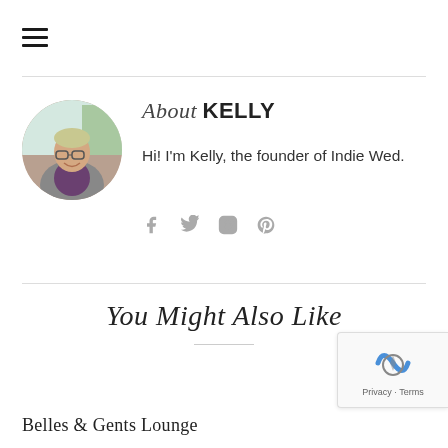≡ (hamburger menu icon)
[Figure (photo): Circular profile photo of Kelly, a person with glasses smiling, outdoors]
About KELLY
Hi! I'm Kelly, the founder of Indie Wed.
[Figure (infographic): Social media icons: Facebook, Twitter, Instagram, Pinterest]
You Might Also Like
Belles & Gents Lounge